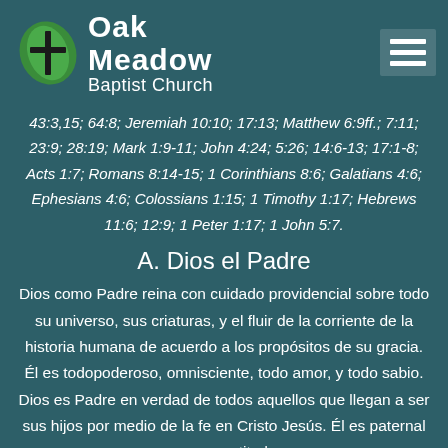[Figure (logo): Oak Meadow Baptist Church logo with green leaf and cross icon and white text]
43:3,15; 64:8; Jeremiah 10:10; 17:13; Matthew 6:9ff.; 7:11; 23:9; 28:19; Mark 1:9-11; John 4:24; 5:26; 14:6-13; 17:1-8; Acts 1:7; Romans 8:14-15; 1 Corinthians 8:6; Galatians 4:6; Ephesians 4:6; Colossians 1:15; 1 Timothy 1:17; Hebrews 11:6; 12:9; 1 Peter 1:17; 1 John 5:7.
A. Dios el Padre
Dios como Padre reina con cuidado providencial sobre todo su universo, sus criaturas, y el fluir de la corriente de la historia humana de acuerdo a los propósitos de su gracia. Él es todopoderoso, omnisciente, todo amor, y todo sabio. Dios es Padre en verdad de todos aquellos que llegan a ser sus hijos por medio de la fe en Cristo Jesús. Él es paternal en su actitud